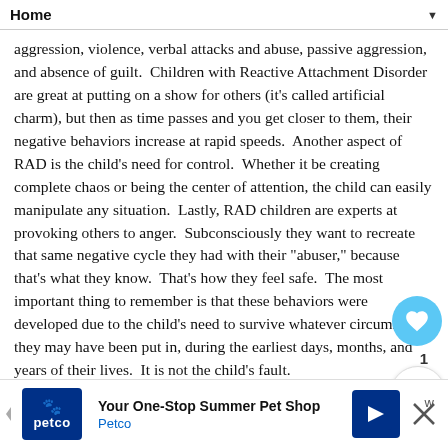Home
aggression, violence, verbal attacks and abuse, passive aggression, and absence of guilt.  Children with Reactive Attachment Disorder are great at putting on a show for others (it's called artificial charm), but then as time passes and you get closer to them, their negative behaviors increase at rapid speeds.  Another aspect of RAD is the child's need for control.  Whether it be creating complete chaos or being the center of attention, the child can easily manipulate any situation.  Lastly, RAD children are experts at provoking others to anger.  Subconsciously they want to recreate that same negative cycle they had with their "abuser," because that's what they know.  That's how they feel safe.  The most important thing to remember is that these behaviors were developed due to the child's need to survive whatever circumstance they may have been put in, during the earliest days, months, and years of their lives.  It is not the child's fault.
When an infant or child must act that way for an extended period of time the brain becomes permanently programmed do these things...